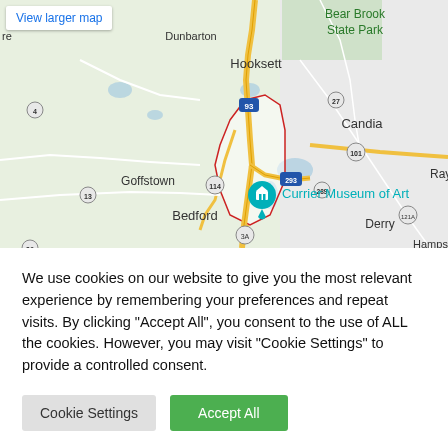[Figure (map): Google Maps screenshot showing the area around Manchester, NH including Hooksett, Goffstown, Bedford, Candia, Derry, and surrounding towns. Shows the Currier Museum of Art location marker, highways 93, 293, 114, 3A, 101, 121A, route numbers 4, 13, 36, 27, 289. Bear Brook State Park visible in upper right. Red outlined city boundary visible in center.]
We use cookies on our website to give you the most relevant experience by remembering your preferences and repeat visits. By clicking "Accept All", you consent to the use of ALL the cookies. However, you may visit "Cookie Settings" to provide a controlled consent.